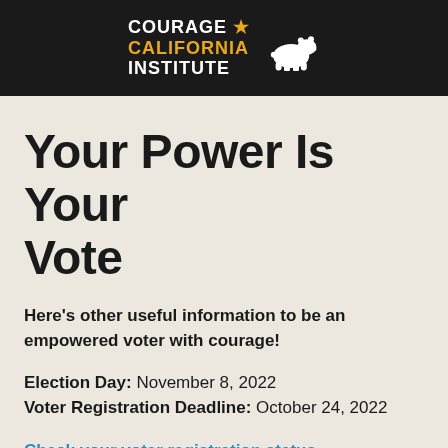[Figure (logo): Courage California Institute logo with white bear silhouette on black background]
Your Power Is Your Vote
Here's other useful information to be an empowered voter with courage!
Election Day: November 8, 2022
Voter Registration Deadline: October 24, 2022
Check your voter registration status.